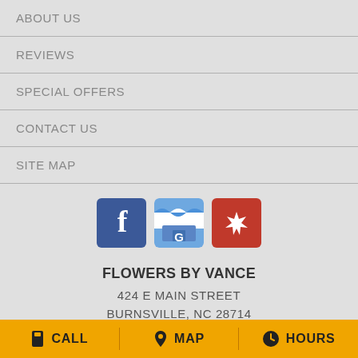ABOUT US
REVIEWS
SPECIAL OFFERS
CONTACT US
SITE MAP
[Figure (logo): Facebook, Google My Business, and Yelp social media icons]
FLOWERS BY VANCE
424 E MAIN STREET
BURNSVILLE, NC 28714
CALL   MAP   HOURS